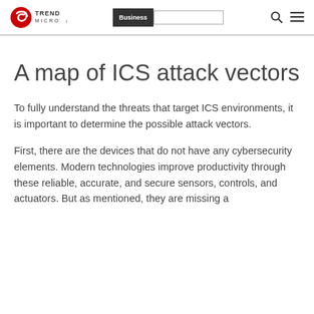Trend Micro | Business
A map of ICS attack vectors
To fully understand the threats that target ICS environments, it is important to determine the possible attack vectors.
First, there are the devices that do not have any cybersecurity elements. Modern technologies improve productivity through these reliable, accurate, and secure sensors, controls, and actuators. But as mentioned, they are missing a